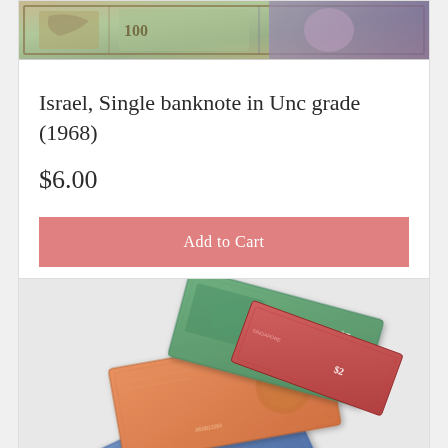[Figure (photo): Top portion of an Israeli banknote, partially cropped, showing decorative elements in green, purple, and tan colors.]
Israel, Single banknote in Unc grade (1968)
$6.00
Add to Cart
[Figure (photo): Fan of multiple Singapore banknotes ($1, $2, $5 denominations) spread out at angles, showing colorful designs in blue, orange/red, and green.]